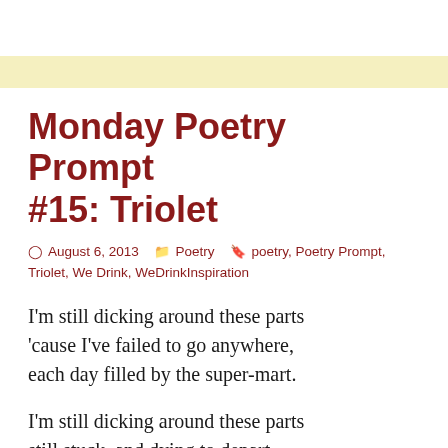Monday Poetry Prompt #15: Triolet
August 6, 2013   Poetry   poetry, Poetry Prompt, Triolet, We Drink, WeDrinkInspiration
I'm still dicking around these parts
'cause I've failed to go anywhere,
each day filled by the super-mart.
I'm still dicking around these parts
still stuck, and dying to depart
from this city's nest of despair.